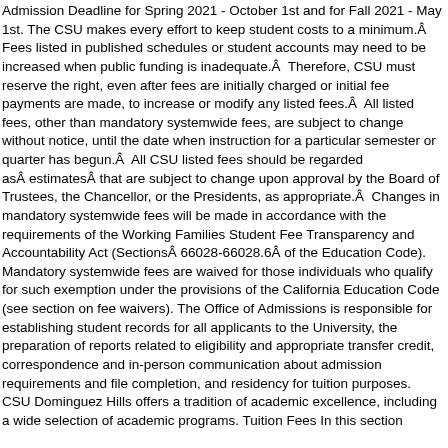Admission Deadline for Spring 2021 - October 1st and for Fall 2021 - May 1st. The CSU makes every effort to keep student costs to a minimum.Â  Fees listed in published schedules or student accounts may need to be increased when public funding is inadequate.Â  Therefore, CSU must reserve the right, even after fees are initially charged or initial fee payments are made, to increase or modify any listed fees.Â  All listed fees, other than mandatory systemwide fees, are subject to change without notice, until the date when instruction for a particular semester or quarter has begun.Â  All CSU listed fees should be regarded asÂ estimatesÂ that are subject to change upon approval by the Board of Trustees, the Chancellor, or the Presidents, as appropriate.Â  Changes in mandatory systemwide fees will be made in accordance with the requirements of the Working Families Student Fee Transparency and Accountability Act (SectionsÂ 66028-66028.6Â of the Education Code). Mandatory systemwide fees are waived for those individuals who qualify for such exemption under the provisions of the California Education Code (see section on fee waivers). The Office of Admissions is responsible for establishing student records for all applicants to the University, the preparation of reports related to eligibility and appropriate transfer credit, correspondence and in-person communication about admission requirements and file completion, and residency for tuition purposes. CSU Dominguez Hills offers a tradition of academic excellence, including a wide selection of academic programs. Tuition Fees In this section